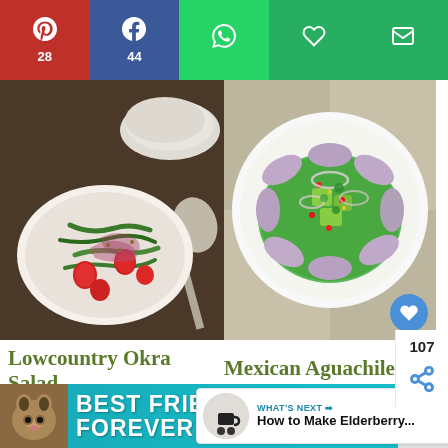[Figure (screenshot): Social sharing toolbar with Pinterest (28), Facebook (44), WhatsApp, heart/save, and email buttons]
[Figure (photo): Lowcountry Okra Salad in a white bowl with green beans, strawberries, and red onion on a wooden surface with plates and a decorative spoon]
[Figure (photo): Mexican Aguachile dish on a white plate with thinly sliced protein in green sauce, avocado, red peppers, and onion rings]
Lowcountry Okra Salad
Mexican Aguachile
[Figure (screenshot): What's Next panel showing How to Make Elderberry... with thumbnail]
[Figure (screenshot): Best Friends Forever advertisement banner with cat image]